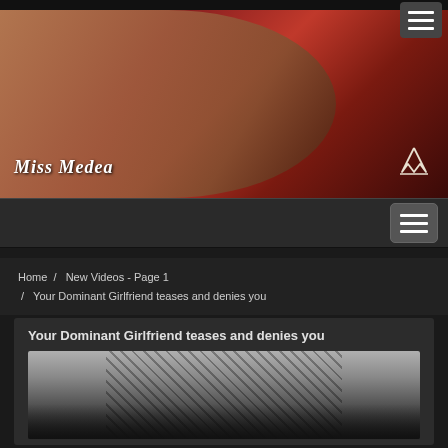[Figure (photo): Header banner photo of Miss Medea lying on red fabric wearing black lace dress, with Miss Medea branding text and crown logo]
Miss Medea
Home / New Videos - Page 1 / Your Dominant Girlfriend teases and denies you
Your Dominant Girlfriend teases and denies you
[Figure (photo): Preview thumbnail of video content showing woman in black lace outfit]